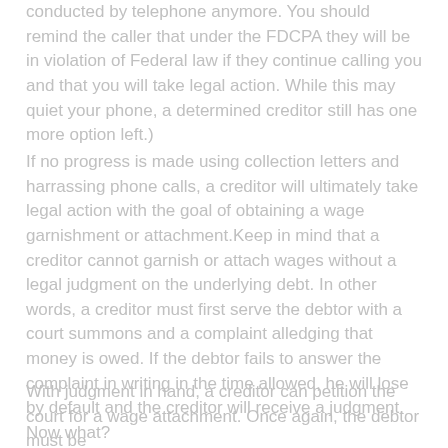conducted by telephone anymore. You should remind the caller that under the FDCPA they will be in violation of Federal law if they continue calling you and that you will take legal action. While this may quiet your phone, a determined creditor still has one more option left.)
If no progress is made using collection letters and harrassing phone calls, a creditor will ultimately take legal action with the goal of obtaining a wage garnishment or attachment.Keep in mind that a creditor cannot garnish or attach wages without a legal judgment on the underlying debt. In other words, a creditor must first serve the debtor with a court summons and a complaint alledging that money is owed. If the debtor fails to answer the complaint in writing in the time allowed, he will lose by default and the creditor will receive a judgment. Now what?
With judgment in hand, a creditor can petition the court for a wage attachment. Once again, the debtor must be